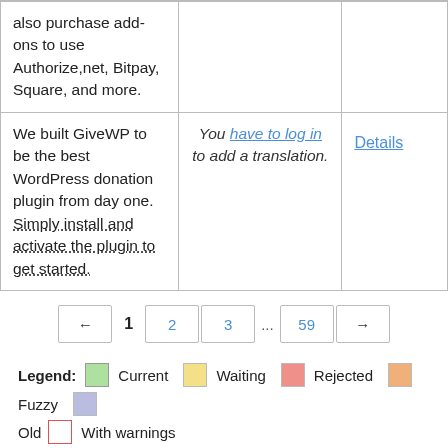|  |  |  |
| --- | --- | --- |
| also purchase add-ons to use Authorize,net, Bitpay, Square, and more. |  |  |
| We built GiveWP to be the best WordPress donation plugin from day one. Simply install and activate the plugin to get started. | You have to log in to add a translation. | Details |
← 1 2 3 ... 59 →
Legend: Current Waiting Rejected Fuzzy Old With warnings
Export all current as